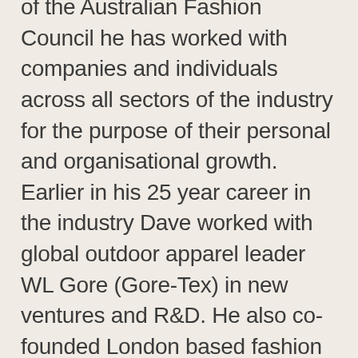of the Australian Fashion Council he has worked with companies and individuals across all sectors of the industry for the purpose of their personal and organisational growth. Earlier in his 25 year career in the industry Dave worked with global outdoor apparel leader WL Gore (Gore-Tex) in new ventures and R&D. He also co-founded London based fashion brand Frankly, led business development for smart materials technology company Imagine Intelligent Materials, and was CEO of Australian Defence Apparel. Dave now leads DAAFF's newly established